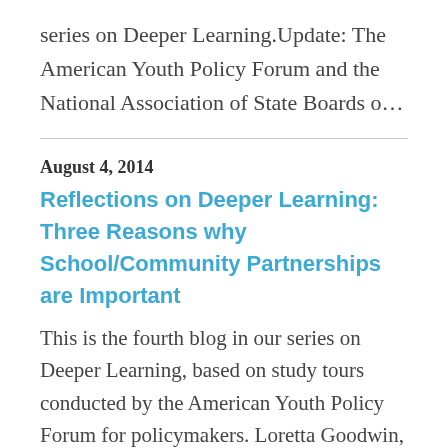series on Deeper Learning.Update: The American Youth Policy Forum and the National Association of State Boards o…
August 4, 2014
Reflections on Deeper Learning: Three Reasons why School/Community Partnerships are Important
This is the fourth blog in our series on Deeper Learning, based on study tours conducted by the American Youth Policy Forum for policymakers. Loretta Goodwin, …